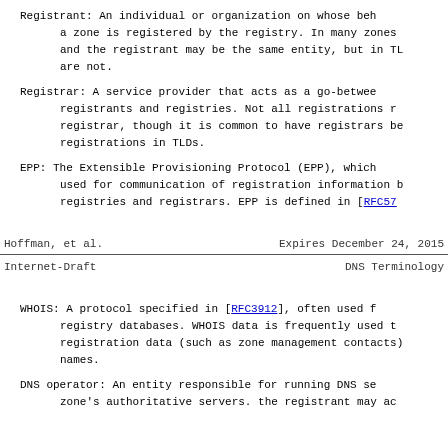Registrant:  An individual or organization on whose behalf a zone is registered by the registry.  In many zones and the registrant may be the same entity, but in TL are not.
Registrar:  A service provider that acts as a go-between registrants and registries.  Not all registrations r registrar, though it is common to have registrars be registrations in TLDs.
EPP:  The Extensible Provisioning Protocol (EPP), which used for communication of registration information b registries and registrars.  EPP is defined in [RFC57
Hoffman, et al.          Expires December 24, 2015
Internet-Draft                    DNS Terminology
WHOIS:  A protocol specified in [RFC3912], often used f registry databases.  WHOIS data is frequently used t registration data (such as zone management contacts) names.
DNS operator:  An entity responsible for running DNS se zone's authoritative servers. the registrant may ac